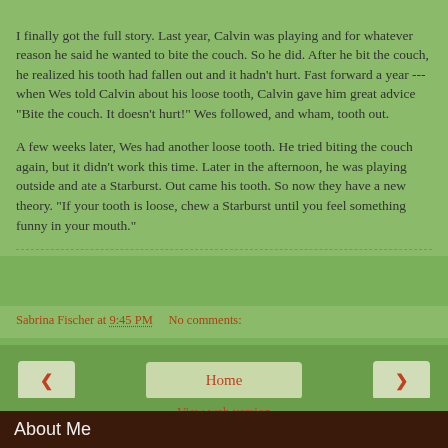I finally got the full story. Last year, Calvin was playing and for whatever reason he said he wanted to bite the couch. So he did. After he bit the couch, he realized his tooth had fallen out and it hadn't hurt. Fast forward a year --- when Wes told Calvin about his loose tooth, Calvin gave him great advice "Bite the couch. It doesn't hurt!" Wes followed, and wham, tooth out.
A few weeks later, Wes had another loose tooth. He tried biting the couch again, but it didn't work this time. Later in the afternoon, he was playing outside and ate a Starburst. Out came his tooth. So now they have a new theory. "If your tooth is loose, chew a Starburst until you feel something funny in your mouth."
Sabrina Fischer at 9:45 PM    No comments:
Home
View web version
About Me